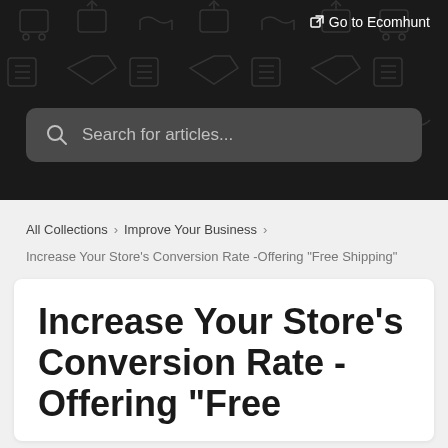[Figure (screenshot): Dark header banner with repeating ecommerce/shopping icons as background pattern]
Go to Ecomhunt
Search for articles...
All Collections > Improve Your Business >
Increase Your Store's Conversion Rate -Offering “Free Shipping”
Increase Your Store’s Conversion Rate - Offering “Free